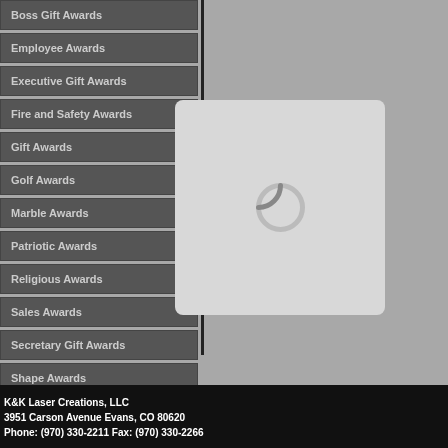Boss Gift Awards
Employee Awards
Executive Gift Awards
Fire and Safety Awards
Gift Awards
Golf Awards
Marble Awards
Patriotic Awards
Religious Awards
Sales Awards
Secretary Gift Awards
Shape Awards
Sport Trophy Awards
[Figure (other): Loading spinner placeholder box with rounded corners and a circular spinner icon]
K&K Laser Creations, LLC
3951 Carson Avenue Evans, CO 80620
Phone: (970) 330-2211 Fax: (970) 330-2266